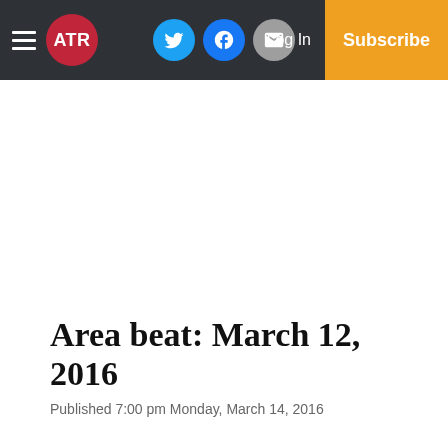ATR — Navigation bar with hamburger menu, ATR logo, Twitter, Facebook, Email icons, Log In, Subscribe
Area beat: March 12, 2016
Published 7:00 pm Monday, March 14, 2016